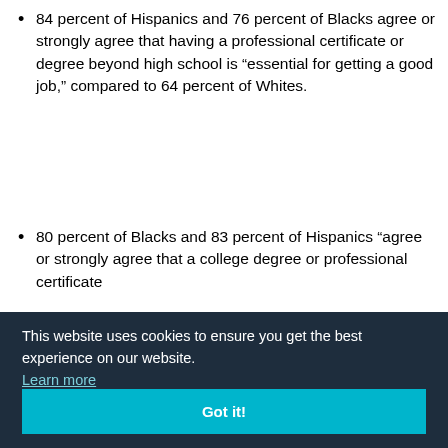84 percent of Hispanics and 76 percent of Blacks agree or strongly agree that having a professional certificate or degree beyond high school is “essential for getting a good job,” compared to 64 percent of Whites.
80 percent of Blacks and 83 percent of Hispanics “agree or strongly agree that a college degree or professional certificate [partially obscured by cookie banner] nt of [partially obscured] life”
This website uses cookies to ensure you get the best experience on our website. Learn more [Got it! button]
https://www.college.gov/poll/102162/...